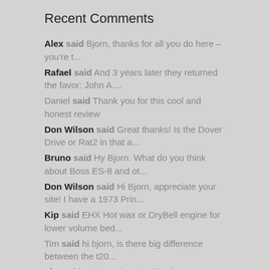Recent Comments
Alex said Bjorn, thanks for all you do here – you're t...
Rafael said And 3 years later they returned the favor: John A....
Daniel said Thank you for this cool and honest review
Don Wilson said Great thanks! Is the Dover Drive or Rat2 in that a...
Bruno said Hy Bjorn. What do you think about Boss ES-8 and ot...
Don Wilson said Hi Bjorn, appreciate your site! I have a 1973 Prin...
Kip said EHX Hot wax or DryBell engine for lower volume bed...
Tim said hi bjorn, is there big difference between the t20...
Tim said Hi Bjorn, i am looking forward to buy a hiwatt t20...
Hans said Great track in every way.